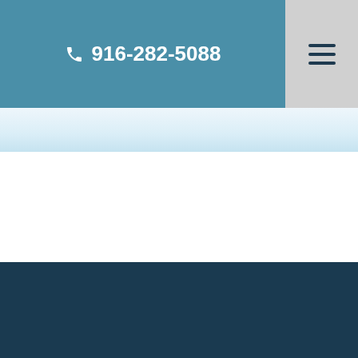916-282-5088
[Figure (logo): Lead Counsel Verified badge - teal circular seal with LC initials and stars]
BACK TO TOP